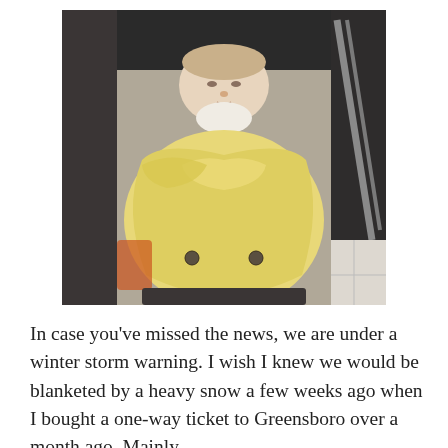[Figure (photo): A baby in a stroller covered with a yellow blanket/footmuff, viewed from the front. The stroller has a dark canopy overhead and a dark frame with a silver handle visible on the right side.]
In case you've missed the news, we are under a winter storm warning. I wish I knew we would be blanketed by a heavy snow a few weeks ago when I bought a one-way ticket to Greensboro over a month ago. Mainly